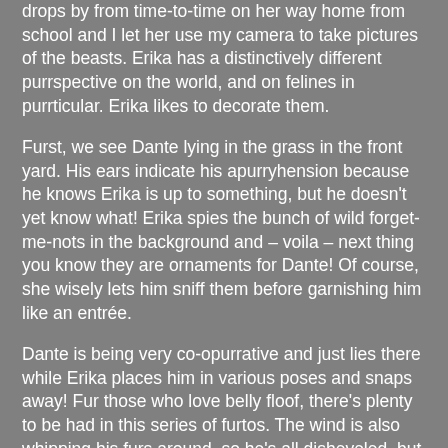drops by from time-to-time on her way home from school and I let her use my camera to take pictures of the beasts. Erika has a distinctively different purrspective on the world, and on felines in purrticular. Erika likes to decorate them.
Furst, we see Dante lying in the grass in the front yard. His ears indicate his apurryhension because he knows Erika is up to something, but he doesn't yet know what! Erika spies the bunch of wild forget-me-nots in the background and – voila – next thing you know they are ornaments for Dante! Of course, she wisely lets him sniff them before garnishing him like an entrée.
Dante is being very co-opurrative and just lies there while Erika places him in various poses and snaps away! Fur those who love belly floof, there's plenty to be had in this series of furtos. The wind is also whipping his furs around, so he's all disheveled, but that adds to the appeal of the floof bounty.
Have you efur seen a kitty who is so tolerant and patient? I think he must really love Erika to allow her to do such things